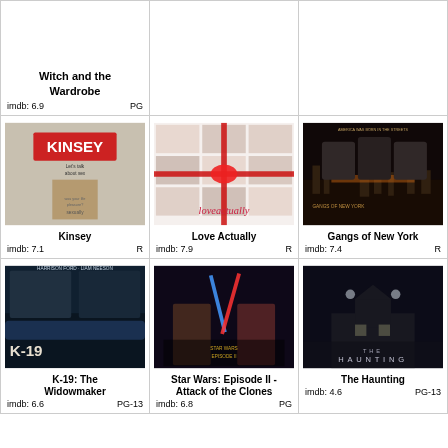Witch and the Wardrobe
imdb: 6.9  PG
[Figure (photo): Movie poster for Kinsey]
Kinsey
imdb: 7.1  R
[Figure (photo): Movie poster for Love Actually]
Love Actually
imdb: 7.9  R
[Figure (photo): Movie poster for Gangs of New York]
Gangs of New York
imdb: 7.4  R
[Figure (photo): Movie poster for K-19: The Widowmaker]
K-19: The Widowmaker
imdb: 6.6  PG-13
[Figure (photo): Movie poster for Star Wars: Episode II - Attack of the Clones]
Star Wars: Episode II - Attack of the Clones
imdb: 6.8  PG
[Figure (photo): Movie poster for The Haunting]
The Haunting
imdb: 4.6  PG-13